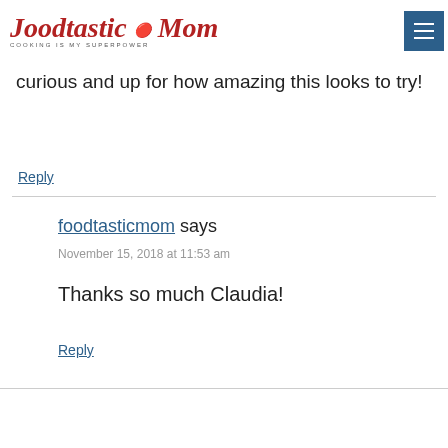[Figure (logo): Foodtastic Mom logo with red KitchenAid mixer and text 'COOKING IS MY SUPERPOWER']
curious and up for how amazing this looks to try!
Reply
foodtasticmom says
November 15, 2018 at 11:53 am
Thanks so much Claudia!
Reply